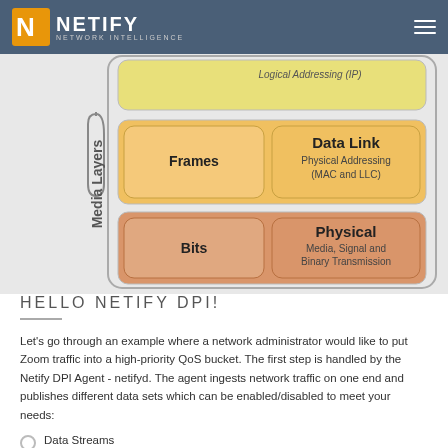NETIFY NETWORK INTELLIGENCE
[Figure (schematic): OSI model Media Layers diagram showing two rows: Data Link (Frames / Physical Addressing MAC and LLC) and Physical (Bits / Media, Signal and Binary Transmission), with a partial Network layer row at the top showing Logical Addressing (IP). A brace on the left labels these as 'Media Layers'.]
HELLO NETIFY DPI!
Let's go through an example where a network administrator would like to put Zoom traffic into a high-priority QoS bucket. The first step is handled by the Netify DPI Agent - netifyd. The agent ingests network traffic on one end and publishes different data sets which can be enabled/disabled to meet your needs:
Data Streams